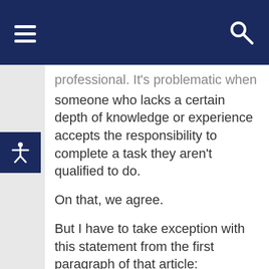professional. It's problematic when someone who lacks a certain depth of knowledge or experience accepts the responsibility to complete a task they aren't qualified to do.
On that, we agree.
But I have to take exception with this statement from the first paragraph of that article:
“Everyone should learn to code. But here’s